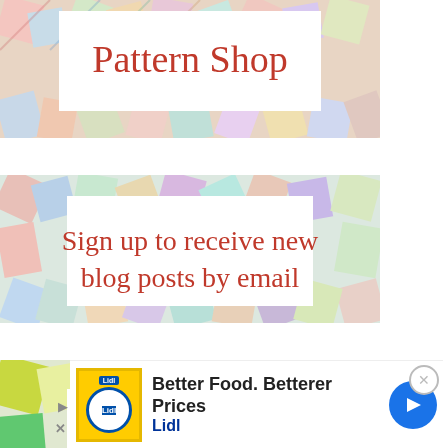[Figure (illustration): Banner with quilt fabric background and white box containing red text 'Pattern Shop']
[Figure (illustration): Banner with quilt fabric background and white box containing red text 'Sign up to receive new blog posts by email']
[Figure (illustration): Banner with quilt fabric background and white box containing red text 'How to use Diagonal Seam Tape']
[Figure (illustration): Partially visible quilt fabric banner at the bottom]
[Figure (infographic): Lidl advertisement banner: 'Better Food. Betterer Prices' with Lidl logo and navigation arrow icon]